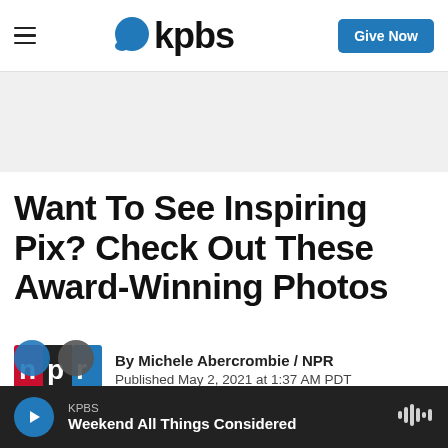kpbs | Give Now
[Figure (other): Gray advertisement/banner placeholder area]
Want To See Inspiring Pix? Check Out These Award-Winning Photos
By Michele Abercrombie / NPR
Published May 2, 2021 at 1:37 AM PDT
KPBS | Weekend All Things Considered